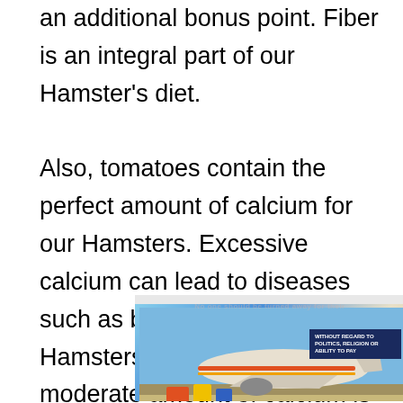an additional bonus point. Fiber is an integral part of our Hamster's diet.

Also, tomatoes contain the perfect amount of calcium for our Hamsters. Excessive calcium can lead to diseases such as bladder stones in our Hamsters. On the other hand, a moderate amount of calcium is important for healthy development of our Hamster's bones.
[Figure (photo): Advertisement banner with a photo of an airplane being loaded with cargo on a tarmac, with a dark blue badge reading 'WITHOUT REGARD TO POLITICS, RELIGION OR ABILITY TO PAY', and a large watermark-style logo text overlay.]